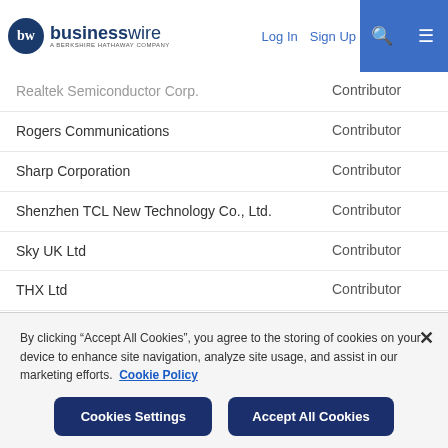businesswire — A Berkshire Hathaway Company | Log In | Sign Up
| Company | Role |
| --- | --- |
| Realtek Semiconductor Corp. | Contributor |
| Rogers Communications | Contributor |
| Sharp Corporation | Contributor |
| Shenzhen TCL New Technology Co., Ltd. | Contributor |
| Sky UK Ltd | Contributor |
| THX Ltd | Contributor |
| Toshiba Lifestyle Products & Services Corporation | Contributor |
| TP Vision Europe B.V. | Contributor |
By clicking "Accept All Cookies", you agree to the storing of cookies on your device to enhance site navigation, analyze site usage, and assist in our marketing efforts. Cookie Policy
Cookies Settings
Accept All Cookies